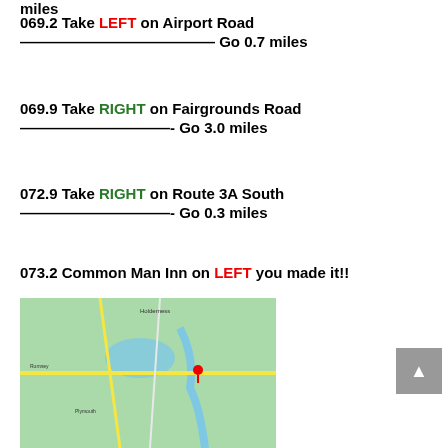miles
069.2 Take LEFT on Airport Road ————————————— Go 0.7 miles
069.9 Take RIGHT on Fairgrounds Road ——————————- Go 3.0 miles
072.9 Take RIGHT on Route 3A South ——————————- Go 0.3 miles
073.2 Common Man Inn on LEFT you made it!!
[Figure (map): Google Maps screenshot showing the area around Plymouth and Holderness, New Hampshire, with a red location pin marking Common Man Inn & Spa.]